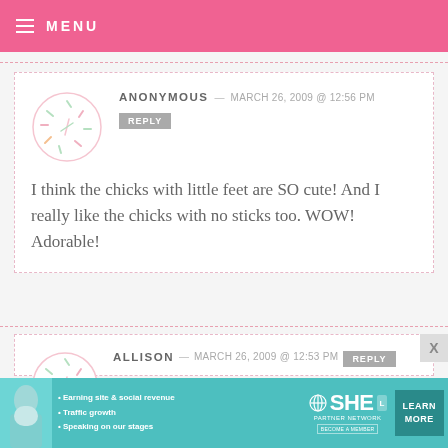MENU
ANONYMOUS — MARCH 26, 2009 @ 12:56 PM
REPLY
I think the chicks with little feet are SO cute! And I really like the chicks with no sticks too. WOW! Adorable!
ALLISON — MARCH 26, 2009 @ 12:53 PM
REPLY
I love the chicks without the sticks the
[Figure (infographic): SHE Partner Network advertisement banner with woman photo, bullet points about earning site & social revenue, traffic growth, speaking on our stages, SHE logo, LEARN MORE button]